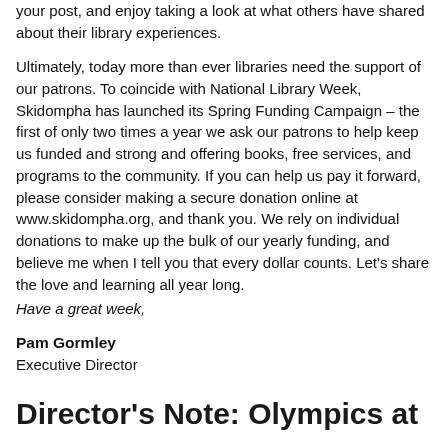your post, and enjoy taking a look at what others have shared about their library experiences.
Ultimately, today more than ever libraries need the support of our patrons. To coincide with National Library Week, Skidompha has launched its Spring Funding Campaign – the first of only two times a year we ask our patrons to help keep us funded and strong and offering books, free services, and programs to the community. If you can help us pay it forward, please consider making a secure donation online at www.skidompha.org, and thank you. We rely on individual donations to make up the bulk of our yearly funding, and believe me when I tell you that every dollar counts. Let's share the love and learning all year long.
Have a great week,
Pam Gormley
Executive Director
Director's Note: Olympics at